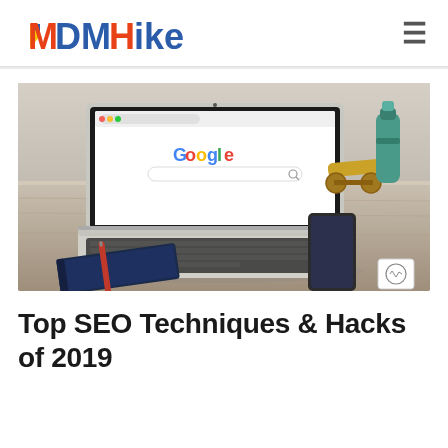MDMHike
[Figure (photo): A MacBook Air laptop open on a wooden desk showing the Google homepage, with a notebook, pen, smartphone, and decorative golden cannon toy in the background.]
Top SEO Techniques & Hacks of 2019